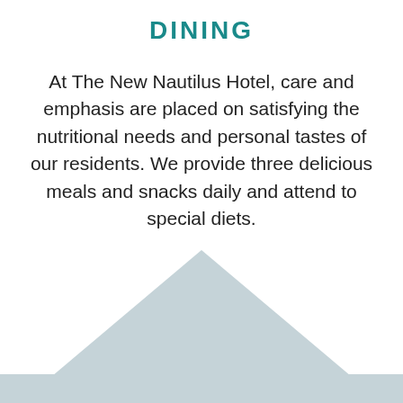DINING
At The New Nautilus Hotel, care and emphasis are placed on satisfying the nutritional needs and personal tastes of our residents. We provide three delicious meals and snacks daily and attend to special diets.
[Figure (illustration): A light blue-grey triangle shape (mountain silhouette) at the bottom of the page, with a light blue-grey horizontal band along the very bottom edge.]